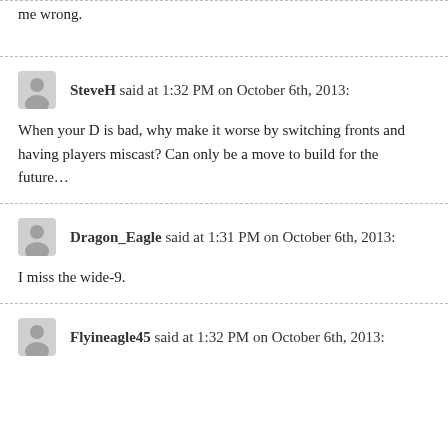me wrong.
SteveH said at 1:32 PM on October 6th, 2013:
When your D is bad, why make it worse by switching fronts and having players miscast? Can only be a move to build for the future…
Dragon_Eagle said at 1:31 PM on October 6th, 2013:
I miss the wide-9.
Flyineagle45 said at 1:32 PM on October 6th, 2013: